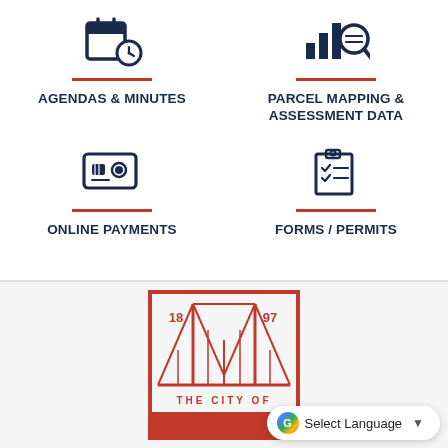[Figure (infographic): Four-cell grid of government service icons: Agendas & Minutes (clock/calendar icon), Parcel Mapping & Assessment Data (bar chart with magnifier icon), Online Payments (credit card icon), Forms / Permits (clipboard with checklist icon). Each icon is dark navy blue above a red horizontal divider, with bold navy label text beneath.]
[Figure (logo): City seal/logo: red rectangular border enclosing a bridge illustration (Golden Gate style) with '18' and '97' on either side at the top, and text 'THE CITY OF' below the bridge image. A 'Select Language' dropdown overlay appears at the bottom right.]